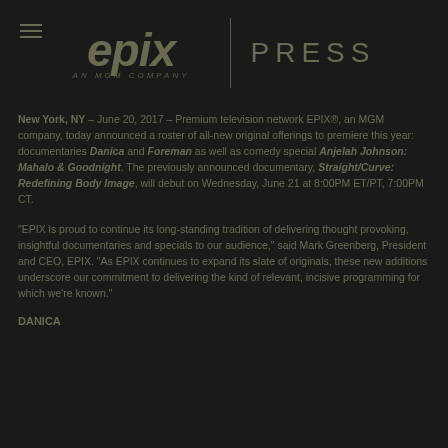[Figure (logo): EPIX Press logo with hamburger menu icon, EPIX wordmark in dark olive/khaki color with 'AN MGM COMPANY' subtitle, vertical divider, and PRESS text]
New York, NY – June 20, 2017 – Premium television network EPIX®, an MGM company, today announced a roster of all-new original offerings to premiere this year: documentaries Danica and Foreman as well as comedy special Anjelah Johnson: Mahalo & Goodnight. The previously announced documentary, Straight/Curve: Redefining Body Image, will debut on Wednesday, June 21 at 8:00PM ET/PT, 7:00PM CT.
"EPIX is proud to continue its long-standing tradition of delivering thought provoking, insightful documentaries and specials to our audience," said Mark Greenberg, President and CEO, EPIX. "As EPIX continues to expand its slate of originals, these new additions underscore our commitment to delivering the kind of relevant, incisive programming for which we're known."
DANICA